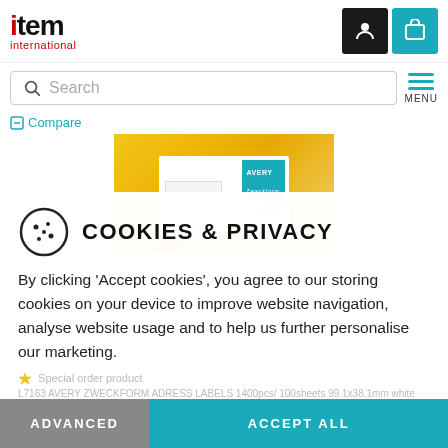item international
Search
Compare
[Figure (photo): Avery Zweckform address labels product package on yellow background]
COOKIES & PRIVACY
By clicking ‘Accept cookies’, you agree to our storing cookies on your device to improve website navigation, analyse website usage and to help us further personalise our marketing.
Special order product
L7163 AVERY ZWECKFORM ADRESS LABELS 1400pcs/ 100sheets 99.1x38.1mm white